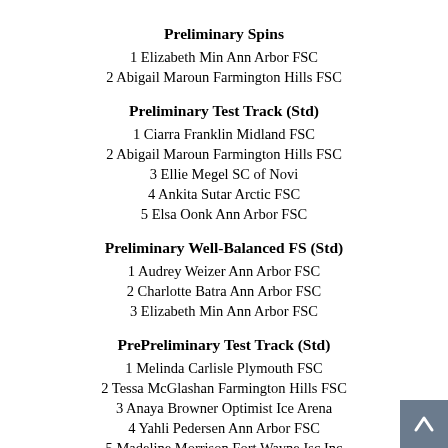Preliminary Spins
1 Elizabeth Min Ann Arbor FSC
2 Abigail Maroun Farmington Hills FSC
Preliminary Test Track (Std)
1 Ciarra Franklin Midland FSC
2 Abigail Maroun Farmington Hills FSC
3 Ellie Megel SC of Novi
4 Ankita Sutar Arctic FSC
5 Elsa Oonk Ann Arbor FSC
Preliminary Well-Balanced FS (Std)
1 Audrey Weizer Ann Arbor FSC
2 Charlotte Batra Ann Arbor FSC
3 Elizabeth Min Ann Arbor FSC
PrePreliminary Test Track (Std)
1 Melinda Carlisle Plymouth FSC
2 Tessa McGlashan Farmington Hills FSC
3 Anaya Browner Optimist Ice Arena
4 Yahli Pedersen Ann Arbor FSC
5 Madeline Morrison Fort Wayne Isc Inc
PrePreliminary Well-Balanced FS (Std) Grp A
1 Annabelle Wilkins Fraser FSC
2 Violet Weizer Ann Arbor FSC
3 Addyson Adams Bowling Green SC
4 Angela Shao Arctic FSC